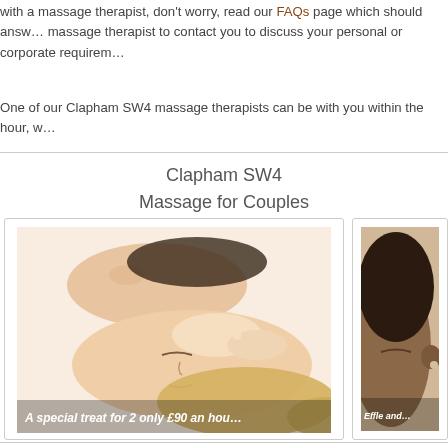All you need to do is call our number at the top of the page and one of our massage therapists will ... with a massage therapist, don't worry, read our FAQs page which should answer ... massage therapist to contact you to discuss your personal or corporate requirements.
One of our Clapham SW4 massage therapists can be with you within the hour, w...
Clapham SW4
Massage for Couples
[Figure (photo): Two women lying side by side receiving head massages. Text overlay reads: A special treat for 2 only £90 an hour]
[Figure (photo): Close-up of a person lying down receiving a massage. Partial text overlay visible.]